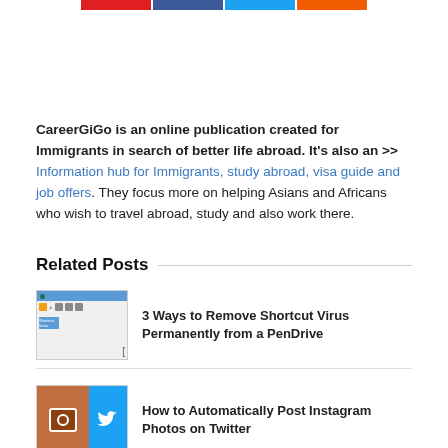[Figure (other): Social media share buttons: red (Pinterest/Google+), dark blue (Facebook), light blue (Twitter), orange (RSS/share)]
CareerGiGo is an online publication created for Immigrants in search of better life abroad. It's also an >> Information hub for Immigrants, study abroad, visa guide and job offers. They focus more on helping Asians and Africans who wish to travel abroad, study and also work there.
Related Posts
[Figure (screenshot): Thumbnail showing a computer screen with shortcut virus files]
3 Ways to Remove Shortcut Virus Permanently from a PenDrive
[Figure (photo): Thumbnail showing Instagram and Twitter logos side by side]
How to Automatically Post Instagram Photos on Twitter